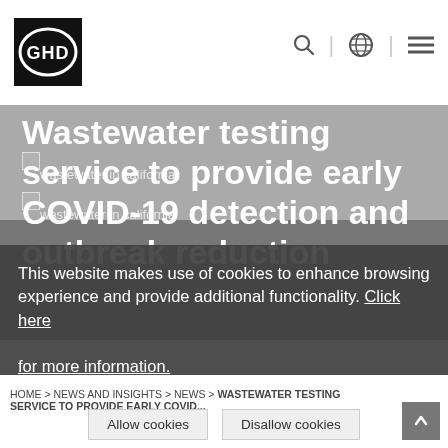[Figure (logo): GHD company logo: black square with white oval containing 'GHD' text]
[Figure (screenshot): Website screenshot showing GHD navigation bar with search icon, globe icon, and hamburger menu icon]
Wastewater testing service to provide early COVID-19 detection and outbreak reduction
wastewater in california
This website makes use of cookies to enhance browsing experience and provide additional functionality. Click here for more information.
HOME > NEWS AND INSIGHTS > NEWS > WASTEWATER TESTING SERVICE TO PROVIDE EARLY COVID...
Allow cookies
Disallow cookies